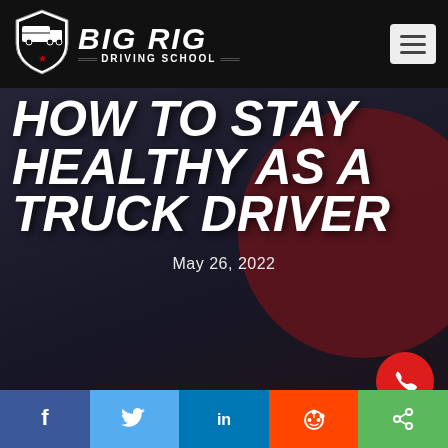Big Rig Driving School
HOW TO STAY HEALTHY AS A TRUCK DRIVER
May 26, 2022
[Figure (logo): Big Rig Driving School shield logo with truck illustration]
Social share buttons: Facebook, Twitter, LinkedIn, Reddit, Share